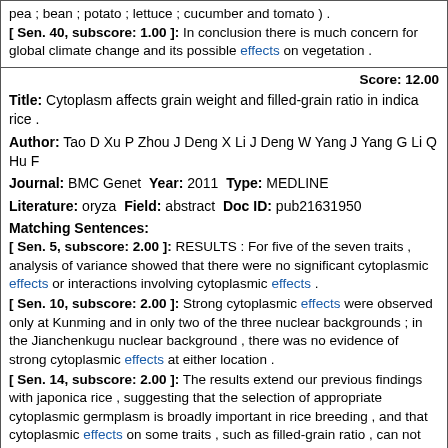pea ; bean ; potato ; lettuce ; cucumber and tomato ) .
[ Sen. 40, subscore: 1.00 ]: In conclusion there is much concern for global climate change and its possible effects on vegetation .
Score: 12.00
Title: Cytoplasm affects grain weight and filled-grain ratio in indica rice .
Author: Tao D Xu P Zhou J Deng X Li J Deng W Yang J Yang G Li Q Hu F
Journal: BMC Genet Year: 2011 Type: MEDLINE
Literature: oryza Field: abstract Doc ID: pub21631950
Matching Sentences:
[ Sen. 5, subscore: 2.00 ]: RESULTS : For five of the seven traits , analysis of variance showed that there were no significant cytoplasmic effects or interactions involving cytoplasmic effects .
[ Sen. 10, subscore: 2.00 ]: Strong cytoplasmic effects were observed only at Kunming and in only two of the three nuclear backgrounds ; in the Jianchenkugu nuclear background , there was no evidence of strong cytoplasmic effects at either location .
[ Sen. 14, subscore: 2.00 ]: The results extend our previous findings with japonica rice , suggesting that the selection of appropriate cytoplasmic germplasm is broadly important in rice breeding , and that cytoplasmic effects on some traits , such as filled-grain ratio , can not be generalized ; effects should be evaluated in the nuclear backgrounds of interest and at multiple locations .
[ Sen. 1, subscore: 1.00 ]: BACKGROUND : Cytoplasmic effects on agronomic traits--involving cytoplasmic and nuclear genomes of either different species or different cultivars--are well documented in wheat but have seldom been demonstrated in rice ( Oryza sativa L ) .
[ Sen. 2, subscore: 1.00 ]: To detect cytoplasmic effects , we